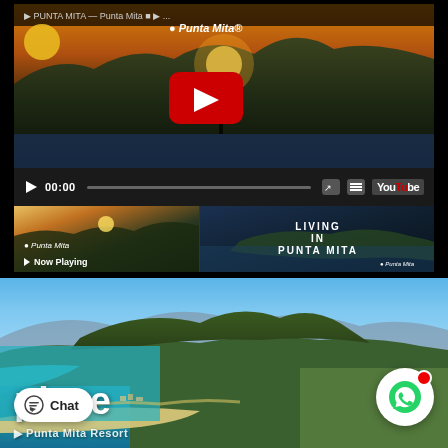[Figure (screenshot): YouTube video player showing Punta Mita resort video with play button, time display 00:00, progress bar, and YouTube controls. Below are two video thumbnails: left shows 'Now Playing' with Punta Mita logo over sunset scene; right shows 'LIVING IN PUNTA MITA' text over aerial view.]
[Figure (photo): Aerial photograph of Punta Mita resort peninsula showing turquoise water, sandy beach, lush green hills, and mountains in the background.]
plore
Punta Mita Resort
Chat